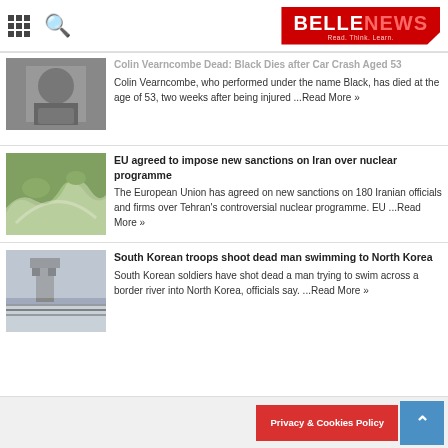BELLENEWS - Read. Think. Learn.
Colin Vearncombe Dead: Black Dies after Car Crash Aged 53
Colin Vearncombe, who performed under the name Black, has died at the age of 53, two weeks after being injured ...Read More »
[Figure (photo): Black and white photo of Colin Vearncombe]
EU agreed to impose new sanctions on Iran over nuclear programme
The European Union has agreed on new sanctions on 180 Iranian officials and firms over Tehran's controversial nuclear programme. EU ...Read More »
[Figure (photo): Aerial view of landscape with river and trees]
South Korean troops shoot dead man swimming to North Korea
South Korean soldiers have shot dead a man trying to swim across a border river into North Korea, officials say. ...Read More »
[Figure (photo): Border watchtower with barbed wire fence]
Privacy & Cookies Policy